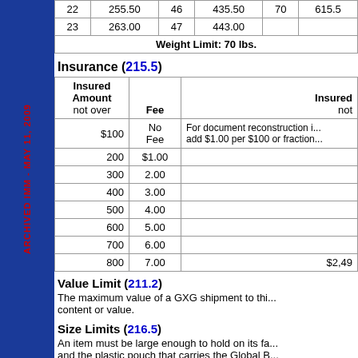|  |  |  |  |  |  |
| --- | --- | --- | --- | --- | --- |
| 22 | 255.50 | 46 | 435.50 | 70 | 615.5... |
| 23 | 263.00 | 47 | 443.00 |  |  |
| Weight Limit: 70 lbs. |  |  |  |  |  |
Insurance (215.5)
| Insured Amount not over | Fee | Insured not... |
| --- | --- | --- |
| $100 | No Fee | For document reconstruction i... add $1.00 per $100 or fraction... |
| 200 | $1.00 |  |
| 300 | 2.00 |  |
| 400 | 3.00 |  |
| 500 | 4.00 |  |
| 600 | 5.00 |  |
| 700 | 6.00 |  |
| 800 | 7.00 | $2,49... |
Value Limit (211.2)
The maximum value of a GXG shipment to thi... content or value.
Size Limits (216.5)
An item must be large enough to hold on its fa... and the plastic pouch that carries the Global B... Guaranteed Air Waybill/Shipping Invoice (ship... The shipping label is approximately 5.5 inche...